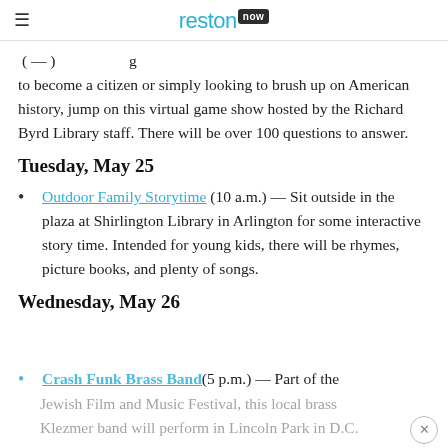reston now
to become a citizen or simply looking to brush up on American history, jump on this virtual game show hosted by the Richard Byrd Library staff. There will be over 100 questions to answer.
Tuesday, May 25
Outdoor Family Storytime (10 a.m.) — Sit outside in the plaza at Shirlington Library in Arlington for some interactive story time. Intended for young kids, there will be rhymes, picture books, and plenty of songs.
Wednesday, May 26
Crash Funk Brass Band (5 p.m.) — Part of the Jewish Film and Music Festival, this local brass Klezmer band will perform in Lincoln Park in D.C.